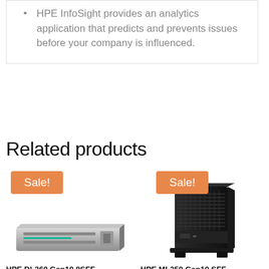HPE InfoSight provides an analytics application that predicts and prevents issues before your company is influenced.
Related products
[Figure (photo): HPE DL360 Gen10 8SFF NC CTO Xeon-G 6234 rack server with Sale! badge]
HPE DL360 Gen10 8SFF NC CTO Xeon-G 6234
[Figure (photo): HPE ML350 Gen10 SFF CTO Server tower with Sale! badge]
HPE ML350 Gen10 SFF CTO Server for Sale HPE